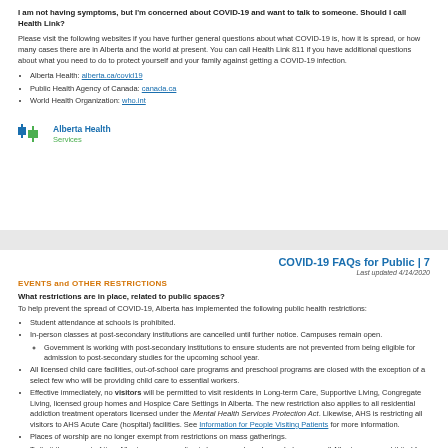I am not having symptoms, but I'm concerned about COVID-19 and want to talk to someone. Should I call Health Link?
Please visit the following websites if you have further general questions about what COVID-19 is, how it is spread, or how many cases there are in Alberta and the world at present. You can call Health Link 811 if you have additional questions about what you need to do to protect yourself and your family against getting a COVID-19 infection.
Alberta Health: alberta.ca/covid19
Public Health Agency of Canada: canada.ca
World Health Organization: who.int
[Figure (logo): Alberta Health Services logo with blue and green cross icon]
COVID-19 FAQs for Public | 7
Last updated 4/14/2020
EVENTS and OTHER RESTRICTIONS
What restrictions are in place, related to public spaces?
To help prevent the spread of COVID-19, Alberta has implemented the following public health restrictions:
Student attendance at schools is prohibited.
In-person classes at post-secondary institutions are cancelled until further notice. Campuses remain open.
Government is working with post-secondary institutions to ensure students are not prevented from being eligible for admission to post-secondary studies for the upcoming school year.
All licensed child care facilities, out-of-school care programs and preschool programs are closed with the exception of a select few who will be providing child care to essential workers.
Effective immediately, no visitors will be permitted to visit residents in Long-term Care, Supportive Living, Congregate Living, licensed group homes and Hospice Care Settings in Alberta. The new restriction also applies to all residential addiction treatment operators licensed under the Mental Health Services Protection Act. Likewise, AHS is restricting all visitors to AHS Acute Care (hospital) facilities. See Information for People Visiting Patients for more information.
Places of worship are no longer exempt from restrictions on mass gatherings.
To limit the amount of time Albertans are spending in large crowds and crowded spaces, all Albertans are prohibited from attending public recreational facilities and private entertainment facilities, including gyms,